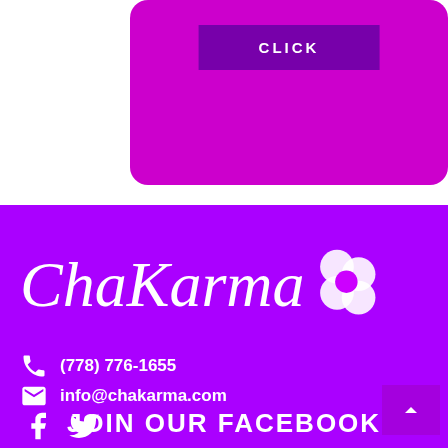[Figure (screenshot): Purple card with a dark purple CLICK button, partially visible at top of page]
[Figure (logo): ChaKarma logo in white cursive script with a white flower/clover icon on purple background]
(778) 776-1655
info@chakarma.com
JOIN OUR FACEBOOK